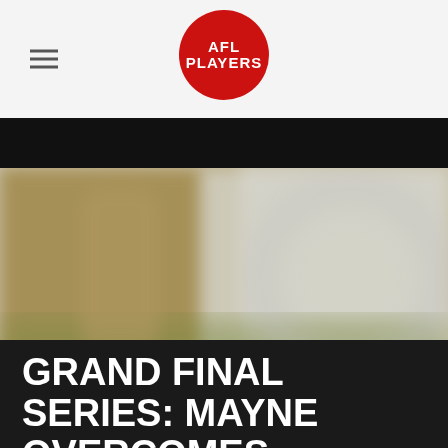AFL PLAYERS
[Figure (photo): Blurred action photo of an AFL football player on the field, with a watermark logo visible]
FANS
PLAYERS
GRAND FINAL SERIES: MAYNE OVERCOMES 'BIGGEST